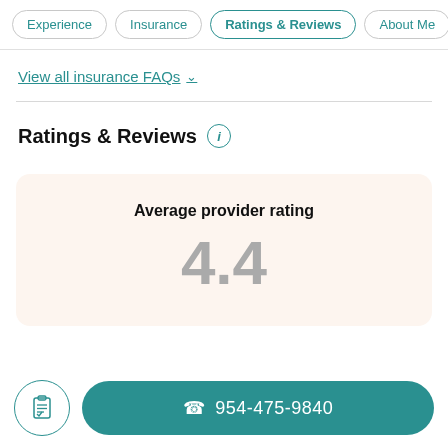Experience | Insurance | Ratings & Reviews | About Me | Lo...
View all insurance FAQs ∨
Ratings & Reviews ⓘ
Average provider rating
4.4
954-475-9840